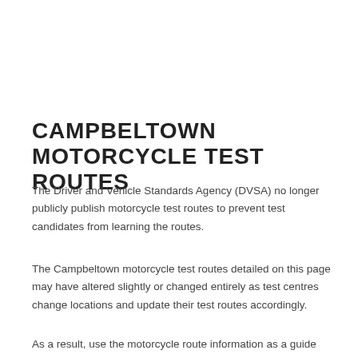CAMPBELTOWN MOTORCYCLE TEST ROUTES
The Driver and Vehicle Standards Agency (DVSA) no longer publicly publish motorcycle test routes to prevent test candidates from learning the routes.
The Campbeltown motorcycle test routes detailed on this page may have altered slightly or changed entirely as test centres change locations and update their test routes accordingly.
As a result, use the motorcycle route information as a guide only and be of aware that the routes given likely to have changed in